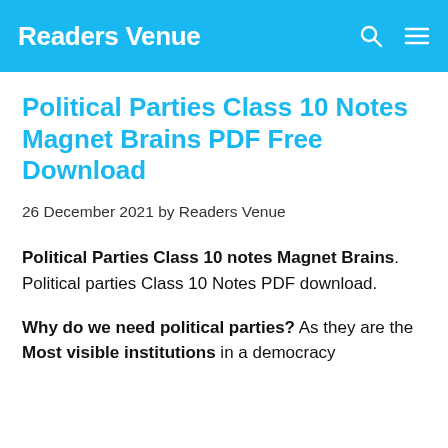Readers Venue
Political Parties Class 10 Notes Magnet Brains PDF Free Download
26 December 2021 by Readers Venue
Political Parties Class 10 notes Magnet Brains. Political parties Class 10 Notes PDF download.
Why do we need political parties? As they are the Most visible institutions in a democracy